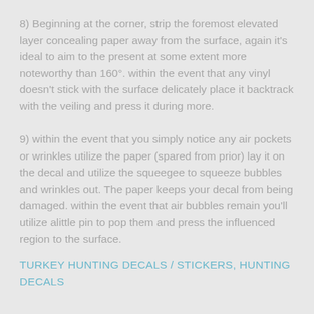8) Beginning at the corner, strip the foremost elevated layer concealing paper away from the surface, again it's ideal to aim to the present at some extent more noteworthy than 160°. within the event that any vinyl doesn't stick with the surface delicately place it backtrack with the veiling and press it during more.
9) within the event that you simply notice any air pockets or wrinkles utilize the paper (spared from prior) lay it on the decal and utilize the squeegee to squeeze bubbles and wrinkles out. The paper keeps your decal from being damaged. within the event that air bubbles remain you'll utilize alittle pin to pop them and press the influenced region to the surface.
TURKEY HUNTING DECALS / STICKERS, HUNTING DECALS